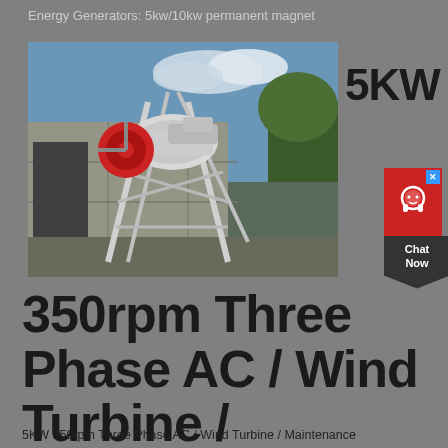Energy Generators: 5kw/10kw permanent magnet
[Figure (photo): Photo of a 5KW wind turbine generator mounted on a metal frame structure against a concrete building and blue sky with trees in background. A red circular component is visible on the left side of the machine.]
5KW
350rpm Three Phase AC / Wind Turbine / Maintenance
5KW 350rpm Three Phase AC / Wind Turbine / Maintenance
[Figure (other): Red chat widget button with headset icon and Chat Now label, with a dark arrow/chevron shape below. Small blue X close button in top-right corner.]